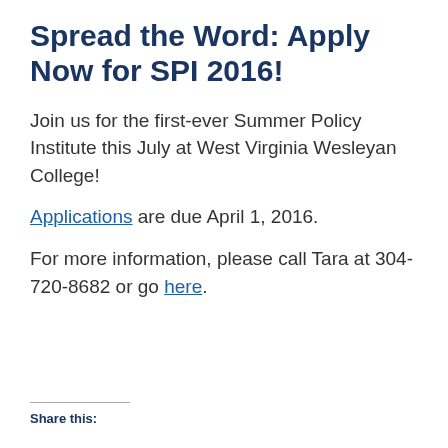Spread the Word: Apply Now for SPI 2016!
Join us for the first-ever Summer Policy Institute this July at West Virginia Wesleyan College!
Applications are due April 1, 2016.
For more information, please call Tara at 304-720-8682 or go here.
Share this: